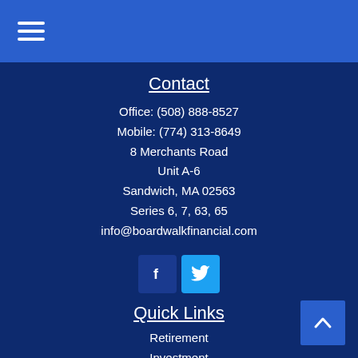[Figure (other): Hamburger menu icon (three horizontal white lines) on a blue banner header]
Contact
Office: (508) 888-8527
Mobile: (774) 313-8649
8 Merchants Road
Unit A-6
Sandwich, MA 02563
Series 6, 7, 63, 65
info@boardwalkfinancial.com
[Figure (other): Facebook icon (white F on dark blue square) and Twitter icon (white bird on light blue square)]
Quick Links
Retirement
Investment
Estate
Insurance
Tax
Money
Lifestyle